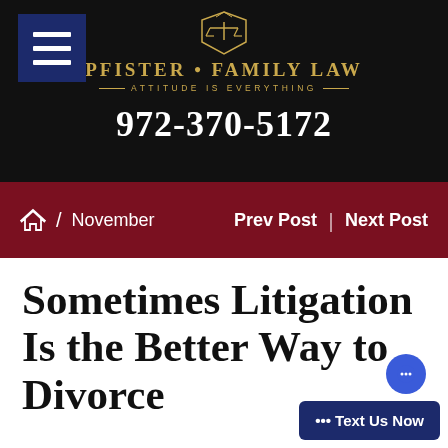PFISTER • FAMILY LAW — ATTITUDE IS EVERYTHING — 972-370-5172
🏠 / November    Prev Post | Next Post
Sometimes Litigation Is the Better Way to Divorce